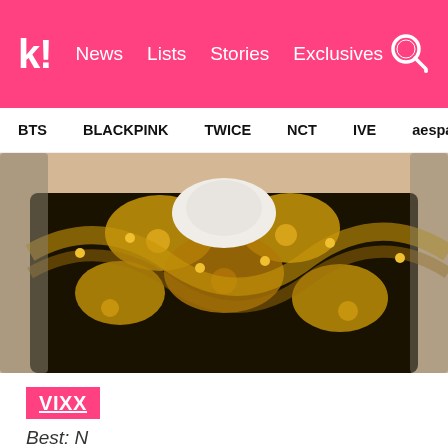k! | News  Lists  Stories  Exclusives
BTS  BLACKPINK  TWICE  NCT  IVE  aespa  SEVE
[Figure (photo): Person wearing an ornate black and gold patterned top/jacket, face not visible, cropped photo]
VIXX
Best: N
He's on a lot of variety shows and I can tell he is really popular. He's not a classically handsome guy, but he has this unique appeal that makes him really popular.
Least: Hyuk